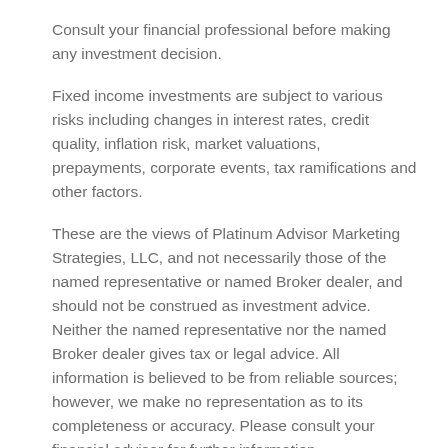Consult your financial professional before making any investment decision.
Fixed income investments are subject to various risks including changes in interest rates, credit quality, inflation risk, market valuations, prepayments, corporate events, tax ramifications and other factors.
These are the views of Platinum Advisor Marketing Strategies, LLC, and not necessarily those of the named representative or named Broker dealer, and should not be construed as investment advice. Neither the named representative nor the named Broker dealer gives tax or legal advice. All information is believed to be from reliable sources; however, we make no representation as to its completeness or accuracy. Please consult your financial advisor for further information.